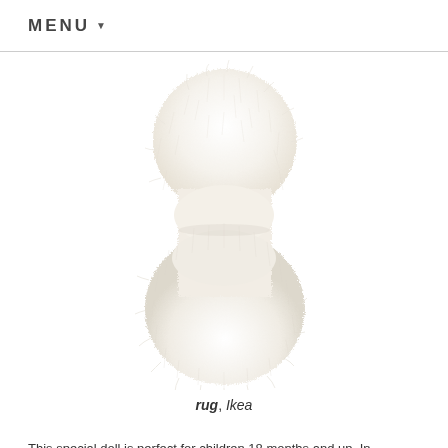MENU
[Figure (photo): A fluffy white/cream sheepskin rug with an irregular organic silhouette, photographed from above against a white background.]
rug, Ikea
This special doll is perfect for children 18 months and up. In